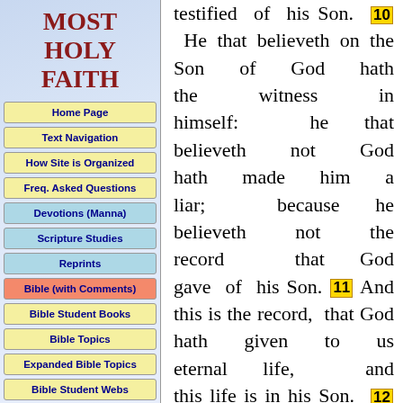MOST HOLY FAITH
Home Page
Text Navigation
How Site is Organized
Freq. Asked Questions
Devotions (Manna)
Scripture Studies
Reprints
Bible (with Comments)
Bible Student Books
Bible Topics
Expanded Bible Topics
Bible Student Webs
Miscellaneous
testified of his Son. 10 He that believeth on the Son of God hath the witness in himself: he that believeth not God hath made him a liar; because he believeth not the record that God gave of his Son. 11 And this is the record, that God hath given to us eternal life, and this life is in his Son. 12 He that hath the Son hath life; and he that